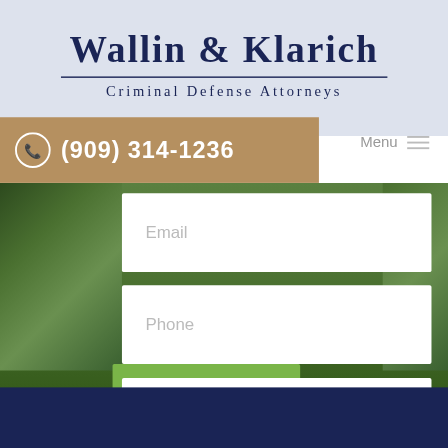Wallin & Klarich
Criminal Defense Attorneys
(909) 314-1236
Menu
[Figure (screenshot): Garden/lawn background with green hedges and plants]
Email
Phone
City and State of Case
Nature Of Case